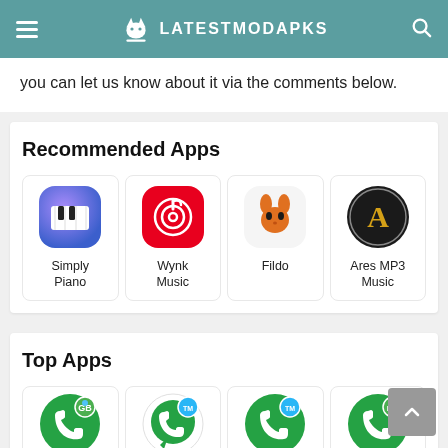LATESTMODAPKS
you can let us know about it via the comments below.
Recommended Apps
[Figure (screenshot): App icons grid: Simply Piano, Wynk Music, Fildo, Ares MP3 Music]
Top Apps
[Figure (screenshot): Top app icons: GB WhatsApp variant icons (partial view)]